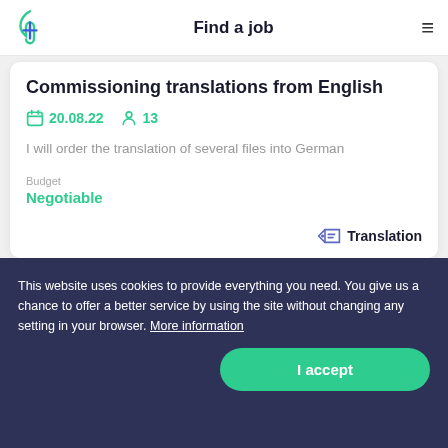Find a job
Commissioning translations from English
20.08.22   13
I will order the translation of several files into German
Budget
Negotiable
Translation
This website uses cookies to provide everything you need. You give us a chance to offer a better service by using the site without changing any setting in your browser. More information
I accept